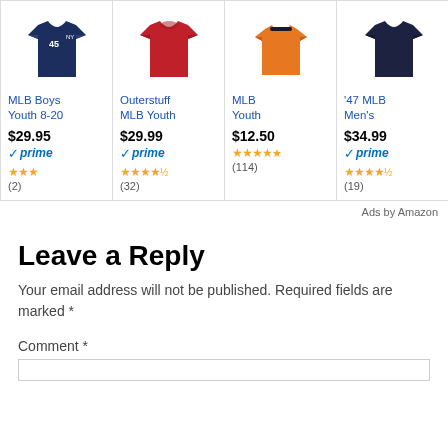[Figure (screenshot): Amazon ad row with 4 MLB t-shirt product cards. Card 1: MLB Boys Youth 8-20, $29.95, prime, 3 stars, (2). Card 2: Outerstuff MLB Youth, $29.99, prime, 4.5 stars, (32). Card 3: MLB Youth, $12.50, 4 stars, (114). Card 4: '47 MLB Men's, $34.99, prime, 4.5 stars, (19). Ads by Amazon label below.]
Ads by Amazon
Leave a Reply
Your email address will not be published. Required fields are marked *
Comment *